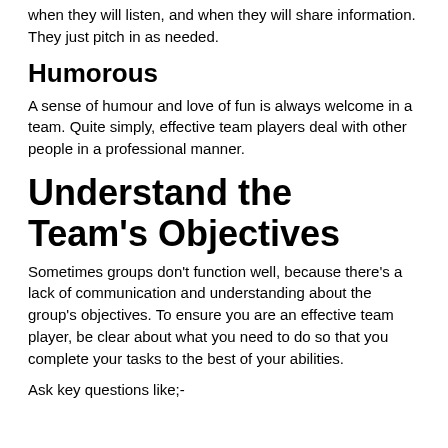when they will listen, and when they will share information. They just pitch in as needed.
Humorous
A sense of humour and love of fun is always welcome in a team. Quite simply, effective team players deal with other people in a professional manner.
Understand the Team’s Objectives
Sometimes groups don't function well, because there’s a lack of communication and understanding about the group's objectives. To ensure you are an effective team player, be clear about what you need to do so that you complete your tasks to the best of your abilities.
Ask key questions like;-